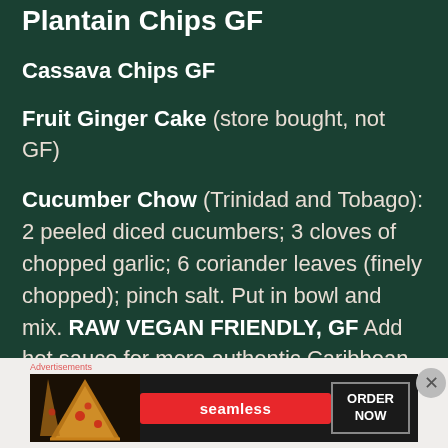Plantain Chips GF
Cassava Chips GF
Fruit Ginger Cake (store bought, not GF)
Cucumber Chow (Trinidad and Tobago): 2 peeled diced cucumbers; 3 cloves of chopped garlic; 6 coriander leaves (finely chopped); pinch salt. Put in bowl and mix. RAW VEGAN FRIENDLY, GF Add hot sauce for more authentic Caribbean taste – I chose not to as the day was already
[Figure (screenshot): Seamless food delivery advertisement banner showing pizza slices on the left, a red Seamless logo button in the center, and an ORDER NOW button on the right with a close (X) button]